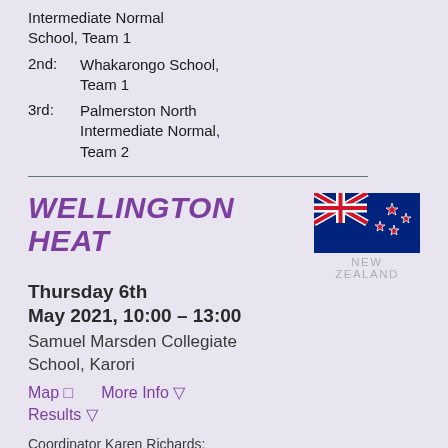Intermediate Normal School, Team 1
2nd: Whakarongo School, Team 1
3rd: Palmerston North Intermediate Normal, Team 2
WELLINGTON HEAT
[Figure (illustration): New Zealand flag with label NEW ZEALAND below it]
Thursday 6th May 2021, 10:00 – 13:00
Samuel Marsden Collegiate School, Karori
Map  More Info
Results
Coordinator Karen Richards: karen.richards@marsden.school.nz
1st: Karori Normal, Team 2